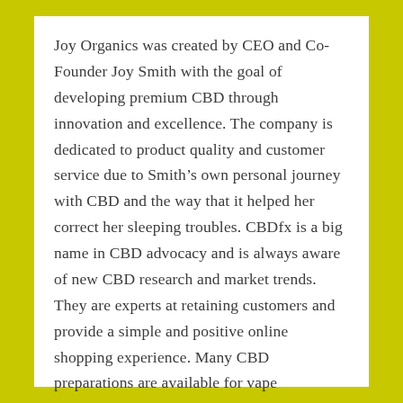Joy Organics was created by CEO and Co-Founder Joy Smith with the goal of developing premium CBD through innovation and excellence. The company is dedicated to product quality and customer service due to Smith's own personal journey with CBD and the way that it helped her correct her sleeping troubles. CBDfx is a big name in CBD advocacy and is always aware of new CBD research and market trends. They are experts at retaining customers and provide a simple and positive online shopping experience. Many CBD preparations are available for vape consumption, like CBD e-liquids that you can add to your rechargeable vape pen tank.